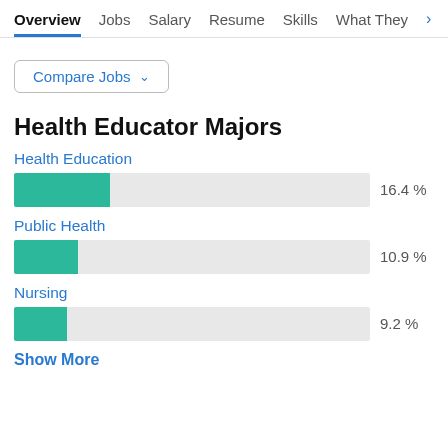Overview  Jobs  Salary  Resume  Skills  What They >
Compare Jobs ∨
Health Educator Majors
[Figure (bar-chart): Health Educator Majors]
Show More